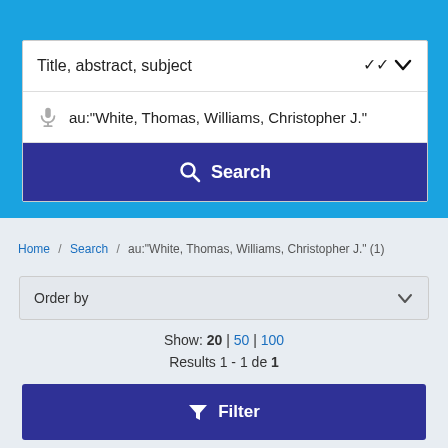[Figure (screenshot): Blue header background area at top of page]
Title, abstract, subject
au:"White, Thomas, Williams, Christopher J."
Search
Home / Search / au:"White, Thomas, Williams, Christopher J." (1)
Order by
Show: 20 | 50 | 100
Results 1 - 1 de 1
Filter